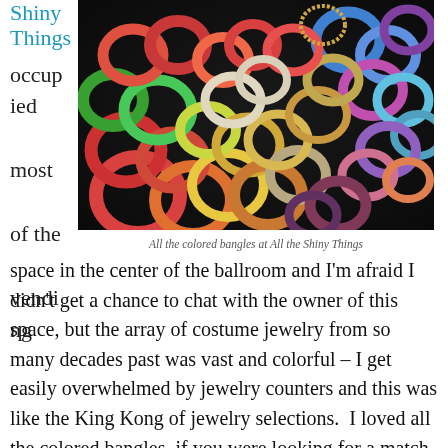Shiny Things occupied most of the vending
[Figure (photo): A large colorful collection of bangles and bracelets in many colors spread out on a dark surface, photographed at All the Shiny Things vendor booth.]
All the colored bangles at All the Shiny Things
space in the center of the ballroom and I'm afraid I didn't get a chance to chat with the owner of this space, but the array of costume jewelry from so many decades past was vast and colorful – I get easily overwhelmed by jewelry counters and this was like the King Kong of jewelry selections.  I loved all the colored bangles, if you were looking for a match, you'd probably find it